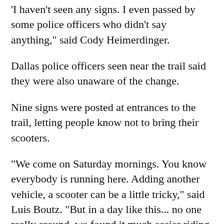'I haven't seen any signs. I even passed by some police officers who didn't say anything,' said Cody Heimerdinger.
Dallas police officers seen near the trail said they were also unaware of the change.
Nine signs were posted at entrances to the trail, letting people know not to bring their scooters.
"We come on Saturday mornings. You know everybody is running here. Adding another vehicle, a scooter can be a little tricky," said Luis Boutz. "But in a day like this... no one really around, we found it much easier riding the scooters on the Katy Trail.
Others applauded the new rule, saying the scooters are dangerous and impede the traffic of people who